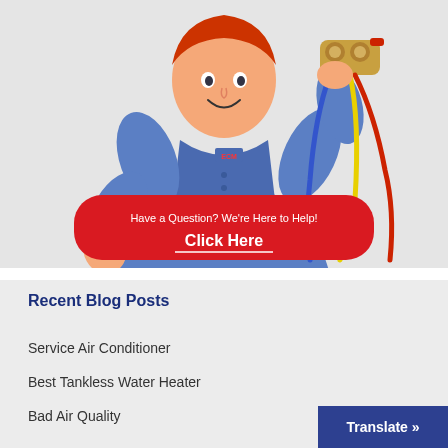[Figure (illustration): Cartoon 3D technician in blue uniform giving thumbs up and holding HVAC refrigerant gauges with colored hoses (yellow, red, blue). Red 'Have a Question? We're Here to Help! Click Here' CTA button with underline at bottom of image.]
Recent Blog Posts
Service Air Conditioner
Best Tankless Water Heater
Bad Air Quality
Translate »